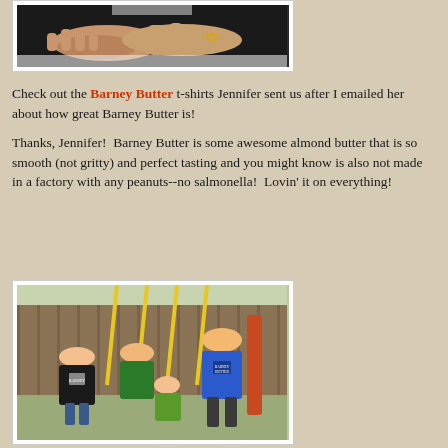[Figure (photo): Close-up photo of hands on a dark surface, appears to be a massage or physical therapy setting]
Check out the Barney Butter t-shirts Jennifer sent us after I emailed her about how great Barney Butter is!
Thanks, Jennifer!  Barney Butter is some awesome almond butter that is so smooth (not gritty) and perfect tasting and you might know is also not made in a factory with any peanuts--no salmonella!  Lovin' it on everything!
[Figure (photo): Four children posing outdoors near a swing set, wearing Barney Butter t-shirts in black, green, and blue colors]